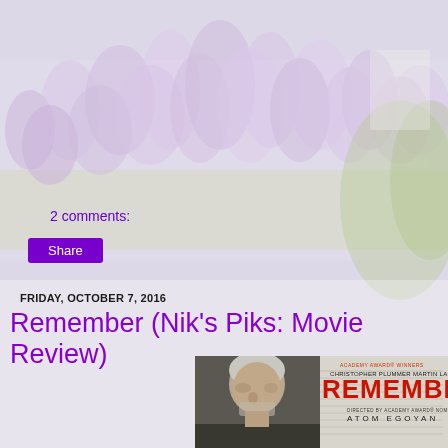[Figure (photo): Background photo of lavender/purple flowering plants in a garden field]
2 comments:
Share
FRIDAY, OCTOBER 7, 2016
Remember (Nik's Piks: Movie Review)
[Figure (photo): Movie poster for 'Remember' directed by Atom Egoyan, starring Christopher Plummer and Martin Landau. Shows an elderly man looking down with text 'REMEMBER' in large red letters and 'DIRECTED BY ACADEMY AWARD NOMINEE ATOM EGOYAN' below.]